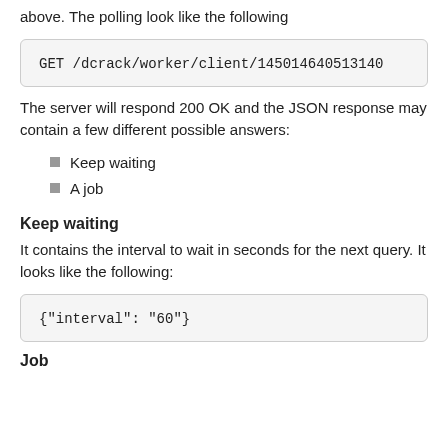above. The polling look like the following
GET /dcrack/worker/client/145014640513140
The server will respond 200 OK and the JSON response may contain a few different possible answers:
Keep waiting
A job
Keep waiting
It contains the interval to wait in seconds for the next query. It looks like the following:
{"interval": "60"}
Job